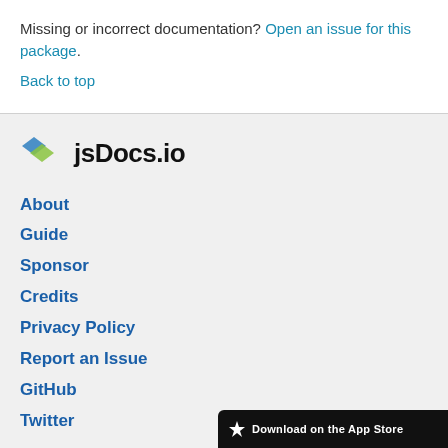Missing or incorrect documentation? Open an issue for this package.
Back to top
[Figure (logo): jsDocs.io logo with two overlapping diamond shapes in blue and green]
About
Guide
Sponsor
Credits
Privacy Policy
Report an Issue
GitHub
Twitter
Download on App Store button